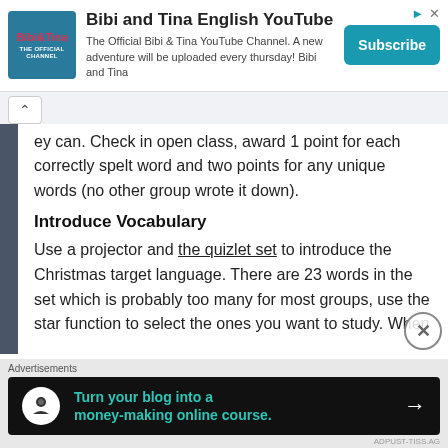[Figure (other): Advertisement banner for Bibi and Tina English YouTube channel with logo, description text, and Subscribe button]
ey can. Check in open class, award 1 point for each correctly spelt word and two points for any unique words (no other group wrote it down).
Introduce Vocabulary
Use a projector and the quizlet set to introduce the Christmas target language. There are 23 words in the set which is probably too many for most groups, use the star function to select the ones you want to study. When
[Figure (other): Advertisement banner: Turn your blog into a money-making online course.]